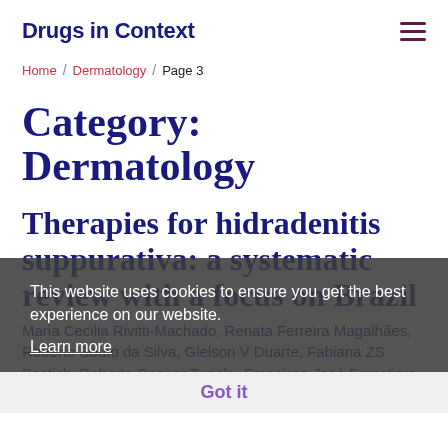Drugs in Context
Home / Dermatology / Page 3
Category: Dermatology
Therapies for hidradenitis suppurativa: a systematic review with a focus on Brazil
This website uses cookies to ensure you get the best experience on our website.
Learn more
Got it
Maria Cecilia Rivitti-Machado, Renata Ferreira Magalhães, Roberto Souto da Silva, Glelson V Duarte, Fabiana ZS Bestich, Roberto Gaspar Tunala, Francisco José Forestiero